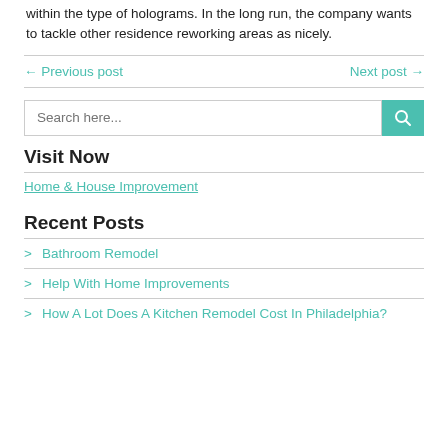within the type of holograms. In the long run, the company wants to tackle other residence reworking areas as nicely.
← Previous post    Next post →
Search here...
Visit Now
Home & House Improvement
Recent Posts
Bathroom Remodel
Help With Home Improvements
How A Lot Does A Kitchen Remodel Cost In Philadelphia?